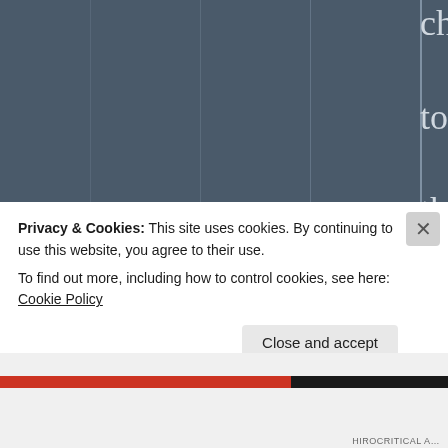chosen me to carry out this duty!
★ Liked by 2 people
[Figure (photo): Circular avatar photo of a person wearing a cap and sunglasses, outdoors]
joshua m
Privacy & Cookies: This site uses cookies. By continuing to use this website, you agree to their use. To find out more, including how to control cookies, see here: Cookie Policy
Close and accept